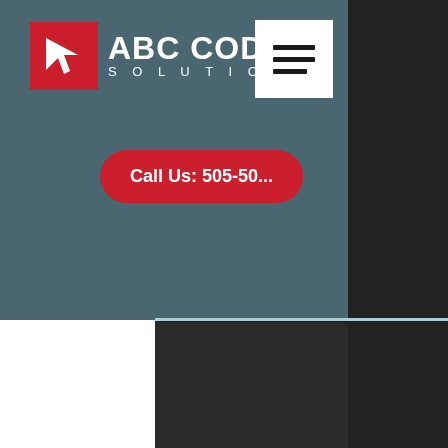[Figure (logo): ABC Coding Solutions logo with red square icon and white text reading ABC CODING SOLUTIONS]
Call Us: 505-50...
[Figure (other): Hamburger menu button - three horizontal lines on white square background]
[Figure (screenshot): Dark background area below the header navigation bar]